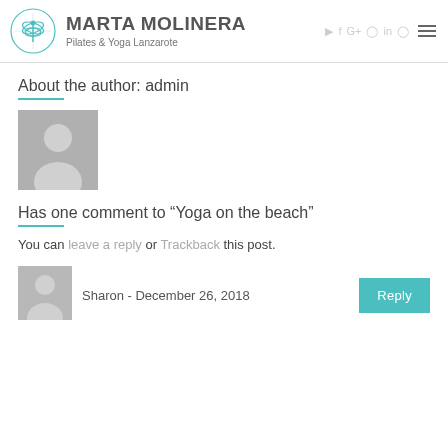MARTA MOLINERA – Pilates & Yoga Lanzarote
About the author: admin
[Figure (illustration): Grey placeholder avatar silhouette (person icon)]
Has one comment to “Yoga on the beach”
You can leave a reply or Trackback this post.
Sharon - December 26, 2018